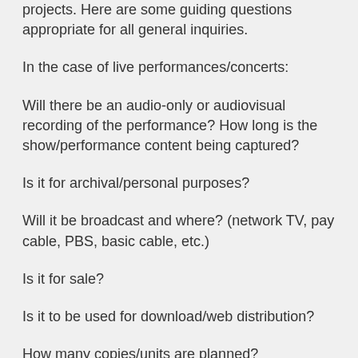projects. Here are some guiding questions appropriate for all general inquiries.
In the case of live performances/concerts:
Will there be an audio-only or audiovisual recording of the performance? How long is the show/performance content being captured?
Is it for archival/personal purposes?
Will it be broadcast and where? (network TV, pay cable, PBS, basic cable, etc.)
Is it for sale?
Is it to be used for download/web distribution?
How many copies/units are planned?
Who will own/control the product?